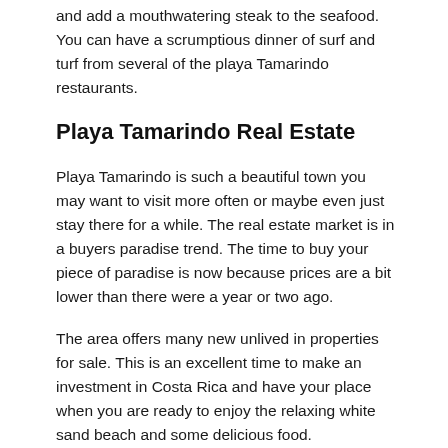and add a mouthwatering steak to the seafood. You can have a scrumptious dinner of surf and turf from several of the playa Tamarindo restaurants.
Playa Tamarindo Real Estate
Playa Tamarindo is such a beautiful town you may want to visit more often or maybe even just stay there for a while. The real estate market is in a buyers paradise trend. The time to buy your piece of paradise is now because prices are a bit lower than there were a year or two ago.
The area offers many new unlived in properties for sale. This is an excellent time to make an investment in Costa Rica and have your place when you are ready to enjoy the relaxing white sand beach and some delicious food.
You may not be ready just yet to dive in and make a considerable investment. Playa Tamarindo real estate offers many long-term rentals. Stay in the